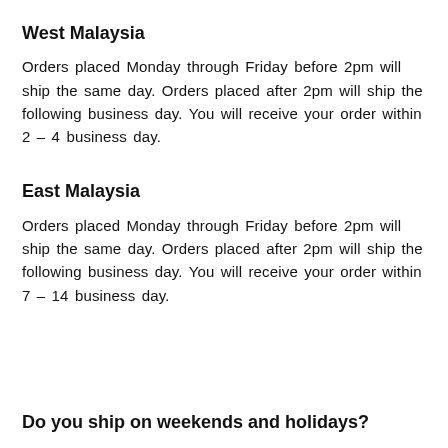West Malaysia
Orders placed Monday through Friday before 2pm will ship the same day. Orders placed after 2pm will ship the following business day. You will receive your order within 2 – 4 business day.
East Malaysia
Orders placed Monday through Friday before 2pm will ship the same day. Orders placed after 2pm will ship the following business day. You will receive your order within 7 – 14 business day.
Do you ship on weekends and holidays?